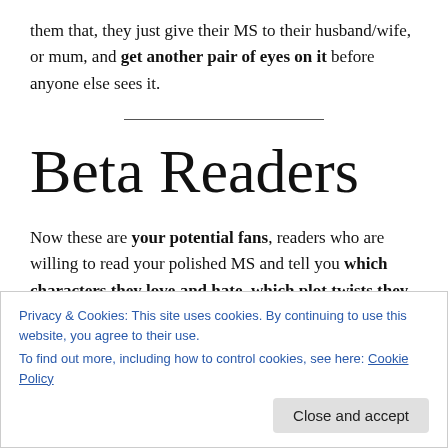them that, they just give their MS to their husband/wife, or mum, and get another pair of eyes on it before anyone else sees it.
Beta Readers
Now these are your potential fans, readers who are willing to read your polished MS and tell you which characters they love and hate, which plot twists they saw coming a mile off. and which romantic relationships felt
Privacy & Cookies: This site uses cookies. By continuing to use this website, you agree to their use.
To find out more, including how to control cookies, see here: Cookie Policy